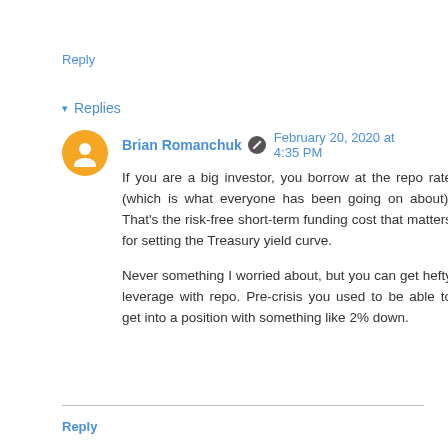Reply
▾ Replies
Brian Romanchuk  February 20, 2020 at 4:35 PM
If you are a big investor, you borrow at the repo rate (which is what everyone has been going on about). That's the risk-free short-term funding cost that matters for setting the Treasury yield curve.
Never something I worried about, but you can get hefty leverage with repo. Pre-crisis you used to be able to get into a position with something like 2% down.
Reply